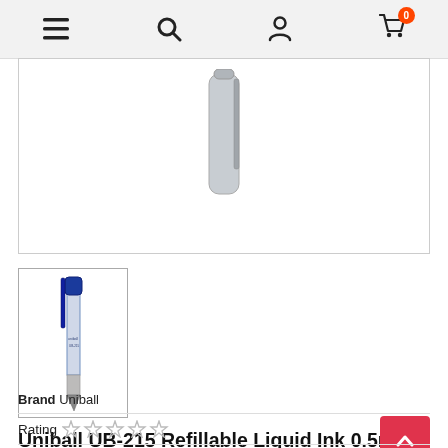Navigation bar with menu, search, user, and cart icons
[Figure (photo): Partial view of Uniball UB-215 pen cap showing '0.5 micro' text on silver barrel, against white background]
[Figure (photo): Thumbnail image of Uniball UB-215 blue roller pen, full length view, against white background]
Uniball UB-215 Refillable Liquid Ink 0.5mm Micro Roller Pen (Blue Ink)
Brand Uniball
Rating
Refillable direct liquid roller pen
0.5mm Tungsten Carbide ball